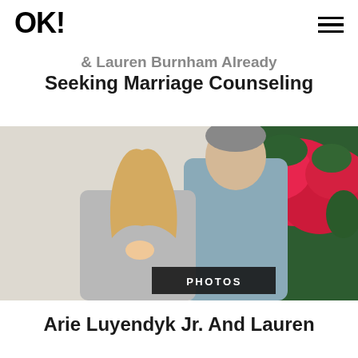OK!
& Lauren Burnham Already Seeking Marriage Counseling
[Figure (photo): Arie Luyendyk Jr. and Lauren Burnham walking together outdoors, woman in grey long-sleeve top with long blonde hair, man in grey zip-up, flowering bushes in background. Overlay button reads PHOTOS.]
Arie Luyendyk Jr. And Lauren